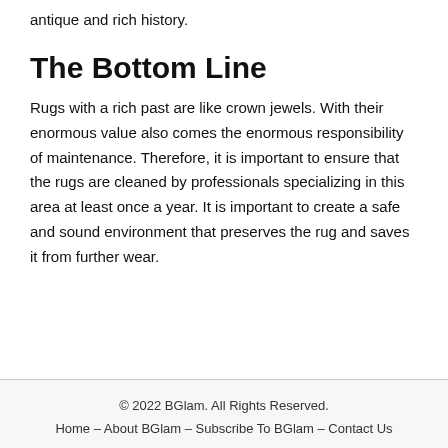antique and rich history.
The Bottom Line
Rugs with a rich past are like crown jewels. With their enormous value also comes the enormous responsibility of maintenance. Therefore, it is important to ensure that the rugs are cleaned by professionals specializing in this area at least once a year. It is important to create a safe and sound environment that preserves the rug and saves it from further wear.
© 2022 BGlam. All Rights Reserved.
Home – About BGlam – Subscribe To BGlam – Contact Us